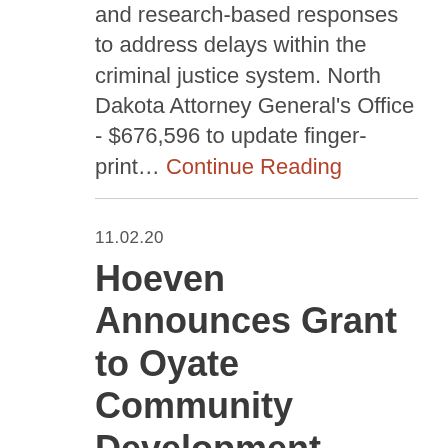and research-based responses to address delays within the criminal justice system. North Dakota Attorney General's Office - $676,596 to update fingerprint… Continue Reading
11.02.20
Hoeven Announces Grant to Oyate Community Development Corporation